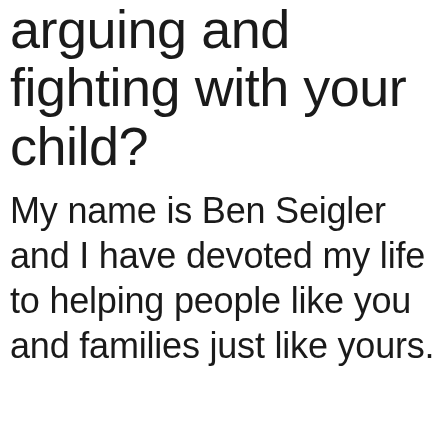arguing and fighting with your child?
My name is Ben Seigler and I have devoted my life to helping people like you and families just like yours.